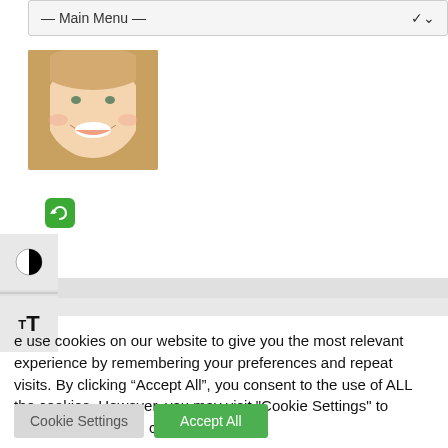— Main Menu —
[Figure (photo): Headshot of a smiling blonde woman]
[Figure (logo): Green rounded square icon with a circular arrow/refresh symbol]
[Figure (other): Contrast toggle icon (half black, half white circle)]
[Figure (other): Text size toggle icon showing small T and large T]
e use cookies on our website to give you the most relevant experience by remembering your preferences and repeat visits. By clicking “Accept All”, you consent to the use of ALL the cookies. However, you may visit "Cookie Settings" to provide a controlled consent.
Cookie Settings
Accept All